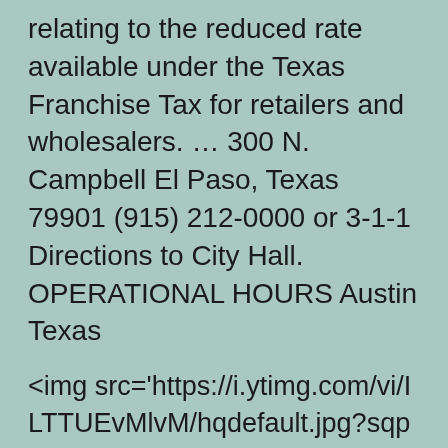relating to the reduced rate available under the Texas Franchise Tax for retailers and wholesalers. … 300 N. Campbell El Paso, Texas 79901 (915) 212-0000 or 3-1-1 Directions to City Hall. OPERATIONAL HOURS Austin Texas
<img src='https://i.ytimg.com/vi/ILTTUEvMlvM/hqdefault.jpg?sqp=-oaymwEjCPYBEIoBSFryq4qpAxUIARUAAAAAgAEIAADIQj0AgKJDeAE=&rs=AOn4CLA6CcSVI4PeUxXJ-fb18i6LWqKl_Q' alt='How to File a texas sales tax Return ' class='alignleft'>Texas